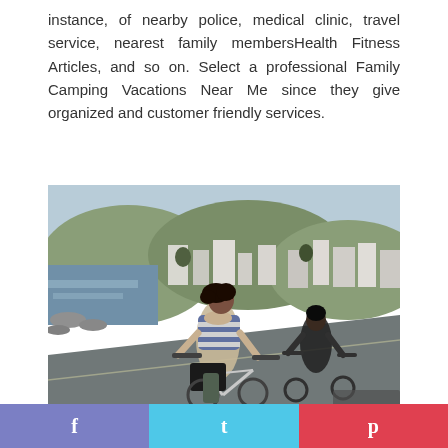instance, of nearby police, medical clinic, travel service, nearest family membersHealth Fitness Articles, and so on. Select a professional Family Camping Vacations Near Me since they give organized and customer friendly services.
[Figure (photo): Two people riding bicycles along a coastal road with buildings and hillside in the background. A woman in a striped top with a scarf rides in front with a basket on her bike; a man in a dark top rides behind her.]
f  t  p